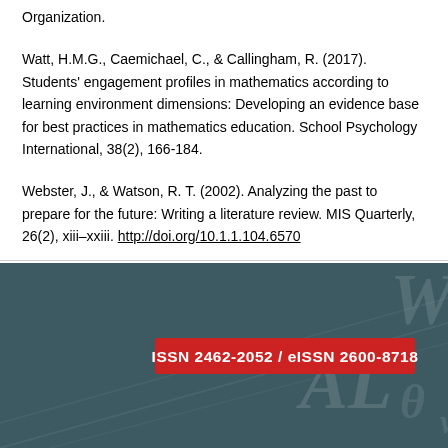Organization.
Watt, H.M.G., Caemichael, C., & Callingham, R. (2017). Students' engagement profiles in mathematics according to learning environment dimensions: Developing an evidence base for best practices in mathematics education. School Psychology International, 38(2), 166-184.
Webster, J., & Watson, R. T. (2002). Analyzing the past to prepare for the future: Writing a literature review. MIS Quarterly, 26(2), xiii–xxiii. http://doi.org/10.1.1.104.6570
[Figure (other): Journal cover or banner image with dark teal/slate background showing watermark letters (W, AL, etc.) and a red banner with white bold text reading 'ISSN 2462-2052 / eISSN 2600-8718']